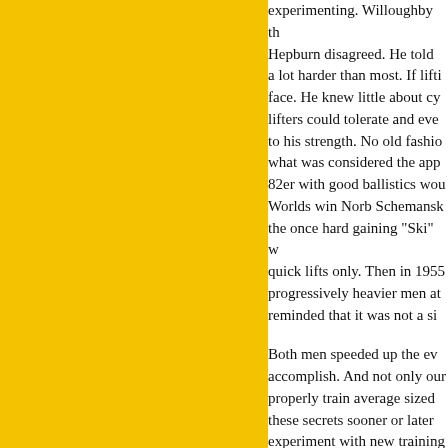experimenting. Willoughby then disagreed. He told... a lot harder than most. If lifting... face. He knew little about cy... lifters could tolerate and even... to his strength. No old fashio... what was considered the app... 82er with good ballistics wou... Worlds win Norb Schemansk... the once hard gaining "Ski" w... quick lifts only. Then in 1955 progressively heavier men at... reminded that it was not a si...
Both men speeded up the ev... accomplish. And not only our... properly train average sized m... these secrets sooner or later... experiment with new training... powerlifters today who dema...
That is the legacy of Doug H...